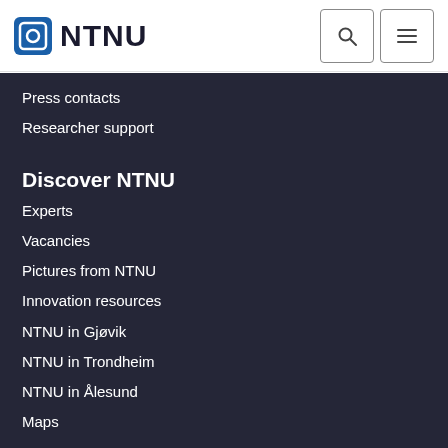NTNU
Press contacts
Researcher support
Discover NTNU
Experts
Vacancies
Pictures from NTNU
Innovation resources
NTNU in Gjøvik
NTNU in Trondheim
NTNU in Ålesund
Maps
About NTNU
NTNU's strategy
Research excellence
Strategic research areas